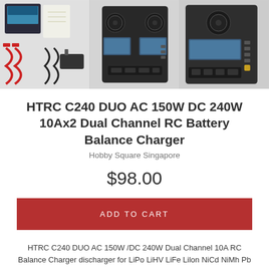[Figure (photo): Three product photos of the HTRC C240 DUO RC Battery Balance Charger: left shows charger with accessories, center and right show the charger unit from different angles]
HTRC C240 DUO AC 150W DC 240W 10Ax2 Dual Channel RC Battery Balance Charger
Hobby Square Singapore
$98.00
ADD TO CART
HTRC C240 DUO AC 150W /DC 240W Dual Channel 10A RC Balance Charger discharger for LiPo LiHV LiFe Lilon NiCd NiMh Pb